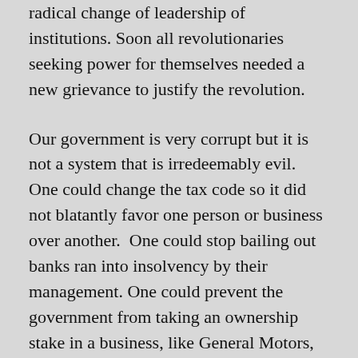radical change of leadership of institutions. Soon all revolutionaries seeking power for themselves needed a new grievance to justify the revolution.
Our government is very corrupt but it is not a system that is irredeemably evil.  One could change the tax code so it did not blatantly favor one person or business over another.  One could stop bailing out banks ran into insolvency by their management. One could prevent the government from taking an ownership stake in a business, like General Motors, and then regulate the safety of the product of General Motors. One could stop politicians from getting millions in ex post facto bribes for favors by having politicians